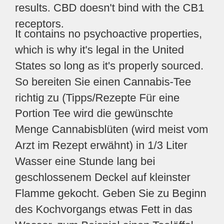results. CBD doesn't bind with the CB1 receptors.
It contains no psychoactive properties, which is why it's legal in the United States so long as it's properly sourced. So bereiten Sie einen Cannabis-Tee richtig zu (Tipps/Rezepte Für eine Portion Tee wird die gewünschte Menge Cannabisblüten (wird meist vom Arzt im Rezept erwähnt) in 1/3 Liter Wasser eine Stunde lang bei geschlossenem Deckel auf kleinster Flamme gekocht. Geben Sie zu Beginn des Kochvorgangs etwas Fett in das Wasser, zum Beispiel einen Teelöffel Sahne oder Kokosfett. Die Cannabinoide werden vom Fett CBD olie kopen bij Holland & Barrett Ontdek ons aanbod CBD. Verschillende producten zoals CBD olie, CBD capsules, CBD druppels, CBD zalf en meer. Bestel snel online.